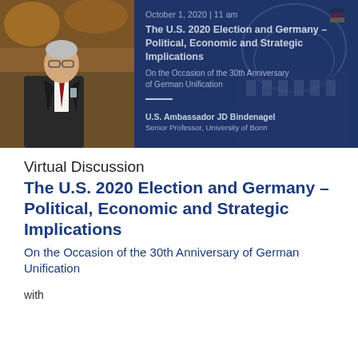[Figure (photo): Banner image showing a man in a suit speaking at a podium on the left, and a blue overlay with the Bundestag building and German flag on the right. Text overlay shows event details.]
October 1, 2020 | 11 am
The U.S. 2020 Election and Germany – Political, Economic and Strategic Implications
On the Occasion of the 30th Anniversary of German Unification
U.S. Ambassador JD Bindenagel
Senior Professor, University of Bonn
Virtual Discussion
The U.S. 2020 Election and Germany – Political, Economic and Strategic Implications
On the Occasion of the 30th Anniversary of German Unification
with